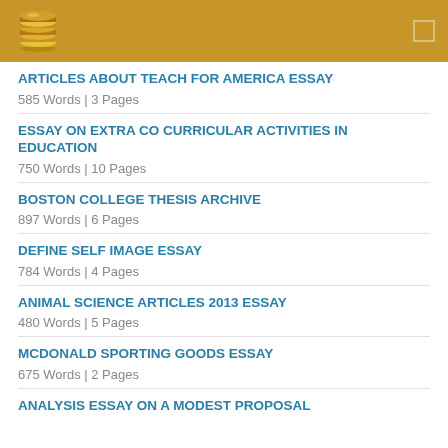[Figure (logo): Stack of coins/discs logo icon in metallic style]
ARTICLES ABOUT TEACH FOR AMERICA ESSAY
585 Words | 3 Pages
ESSAY ON EXTRA CO CURRICULAR ACTIVITIES IN EDUCATION
750 Words | 10 Pages
BOSTON COLLEGE THESIS ARCHIVE
897 Words | 6 Pages
DEFINE SELF IMAGE ESSAY
784 Words | 4 Pages
ANIMAL SCIENCE ARTICLES 2013 ESSAY
480 Words | 5 Pages
MCDONALD SPORTING GOODS ESSAY
675 Words | 2 Pages
ANALYSIS ESSAY ON A MODEST PROPOSAL